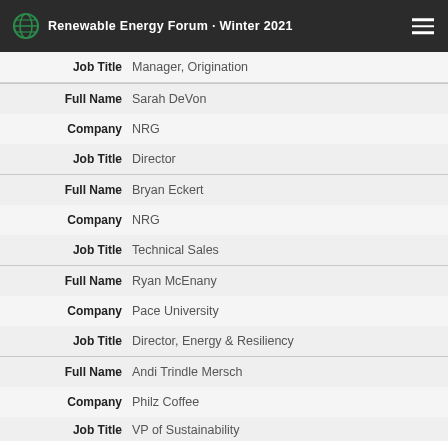Renewable Energy Forum · Winter 2021
| Field | Value |
| --- | --- |
| Job Title | Manager, Origination |
| Full Name | Sarah DeVon |
| Company | NRG |
| Job Title | Director |
| Full Name | Bryan Eckert |
| Company | NRG |
| Job Title | Technical Sales |
| Full Name | Ryan McEnany |
| Company | Pace University |
| Job Title | Director, Energy & Resiliency |
| Full Name | Andi Trindle Mersch |
| Company | Philz Coffee |
| Job Title | VP of Sustainability (truncated) |